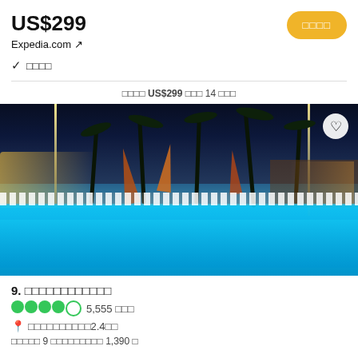US$299
Expedia.com ↗
□□□□ (book button)
✓ □□□□
□□□□ US$299 □□□ 14 □□□
[Figure (photo): Night-time outdoor resort swimming pool with lounge chairs, palm trees, colorful sail-like decorations and resort buildings illuminated with warm yellow lights under a dark blue sky.]
9. □□□□□□□□□□□□
●●●●○ 5,555 □□□
📍 □□□□□□□□□□2.4□□
□□□□□ 9 □□□□□□□□□ 1,390 □